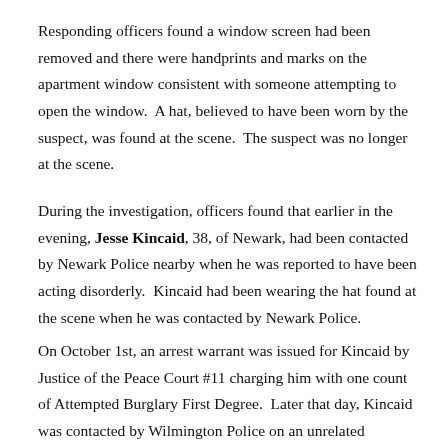Responding officers found a window screen had been removed and there were handprints and marks on the apartment window consistent with someone attempting to open the window. A hat, believed to have been worn by the suspect, was found at the scene. The suspect was no longer at the scene.
During the investigation, officers found that earlier in the evening, Jesse Kincaid, 38, of Newark, had been contacted by Newark Police nearby when he was reported to have been acting disorderly. Kincaid had been wearing the hat found at the scene when he was contacted by Newark Police.
On October 1st, an arrest warrant was issued for Kincaid by Justice of the Peace Court #11 charging him with one count of Attempted Burglary First Degree. Later that day, Kincaid was contacted by Wilmington Police on an unrelated incident and was taken into custody.